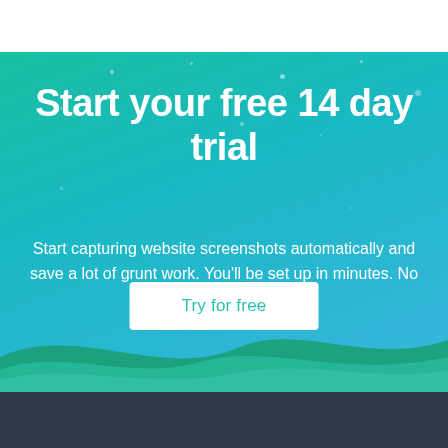Start your free 14 day trial
Start capturing website screenshots automatically and save a lot of grunt work. You'll be set up in minutes. No credit card required.
Try for free